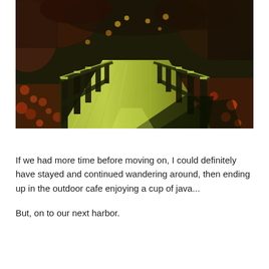[Figure (photo): A stylized or digitally processed photograph of a wooden boardwalk/bridge with railings, surrounded by autumn foliage on the ground and trees with colorful leaves. The image has vivid, high-contrast colors — yellows, greens, reds and dark shadows giving it an almost painterly quality.]
If we had more time before moving on, I could definitely have stayed and continued wandering around, then ending up in the outdoor cafe enjoying a cup of java...
But, on to our next harbor.